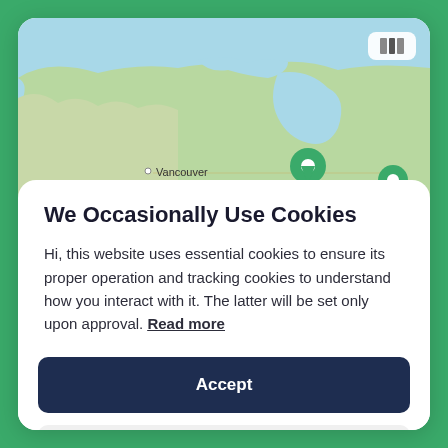[Figure (map): Map showing Canada and northwestern North America with Vancouver labeled and two green location pin markers visible. A map/layers icon button appears in the top-right corner of the map.]
We Occasionally Use Cookies
Hi, this website uses essential cookies to ensure its proper operation and tracking cookies to understand how you interact with it. The latter will be set only upon approval. Read more
Accept
Settings